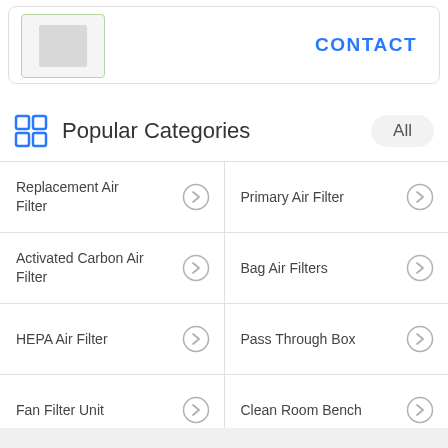[Figure (screenshot): Product image placeholder with green border]
CONTACT
Popular Categories
Replacement Air Filter
Primary Air Filter
Activated Carbon Air Filter
Bag Air Filters
HEPA Air Filter
Pass Through Box
Fan Filter Unit
Clean Room Bench